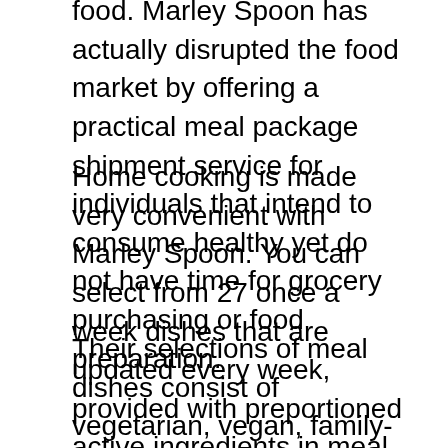food. Marley Spoon has actually disrupted the food market by offering a practical meal package shipment service for individuals that intend to consume healthy yet do not have time for grocery purchasing or food preparation.
Home cooking is made very convenient with Marley Spoon. You can select from 27 once a week dishes that are updated every week, provided with preportioned active ingredients in meal kits right to your door.
Their selections of meal dishes consist of vegetarian, vegan, family-friendly, gluten-free, dairy-free, and low carbohydrate alternatives. Their 6-step recipe cards are chef-inspired and also simple to follow. With